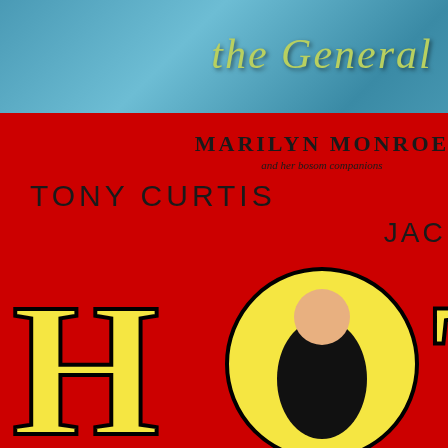[Figure (photo): Movie poster for 'The General' at the top left, teal/blue background with stylized italic title text]
[Figure (photo): Movie poster for 'Some Like It Hot' directed by Billy Wilder, featuring Marilyn Monroe, Tony Curtis, and Jack Lemmon on red background with large HOT text]
The Happiest Days of Your Life
Happiness 1 + 0 Medvedk
Happiness 1 + 0 Solondz
Happy Together 1 + 0 Wo
Harold and Maude 0 + 1 A
The Hawks and the Sparr
He Who Gets Slapped 1 +
Heaven's Gate 1 + 0 Cimi
Heimat 0 + 1 Reitz
The Heiress 0 + 1 Wyler
Hellzapoppin' 1 + 0 Potte
Hi Diddle Diddle 0 + 1 Sto
High Noon 0 + 1 Zinnemа
The Highway 1 + 0 Sun Ye
The Hill 0 + 1 Lumet
Hitler: A Film from Germa
Holiday 1 + 0 Cukor
Hope and Glory 1 + 0 Boo
A hora da estrela 1 + 0 Ar
L'Horloger de Saint-Paul
Hôtel du Nord 0 + 1 Carne
Hour of the Furnaces 1 +
Hour of the Wolf 1 + 0 Be
The House Is Black 1 + 0
How Green Was My Valle
Hue and Cry 1 + 0 Crichto
Human Desire 0 + 1 Lang
I Am Curious, Yellow 1 +